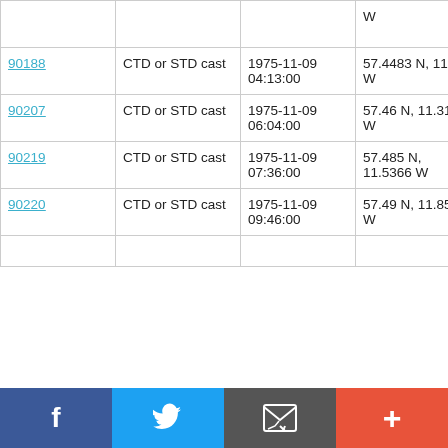| ID | Type | Date/Time | Location | Cruise |
| --- | --- | --- | --- | --- |
| 90188 | CTD or STD cast | 1975-11-09 04:13:00 | 57.4483 N, 11.08 W | RRS Challenger CH14A/75 |
| 90207 | CTD or STD cast | 1975-11-09 06:04:00 | 57.46 N, 11.3166 W | RRS Challenger CH14A/75 |
| 90219 | CTD or STD cast | 1975-11-09 07:36:00 | 57.485 N, 11.5366 W | RRS Challenger CH14A/75 |
| 90220 | CTD or STD cast | 1975-11-09 09:46:00 | 57.49 N, 11.8516 W | RRS Challenger CH14A/75 |
Social share bar: Facebook, Twitter, Email, More